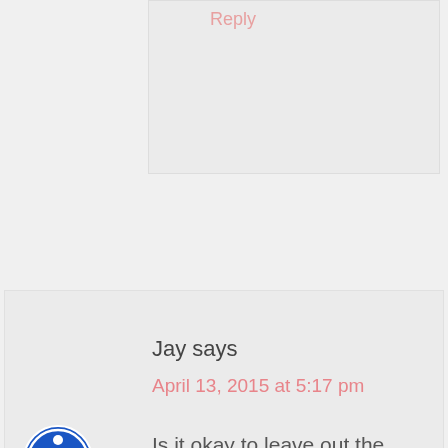Reply
Jay says
April 13, 2015 at 5:17 pm
Is it okay to leave out the alcohol?
Reply
thedomesticrebel says